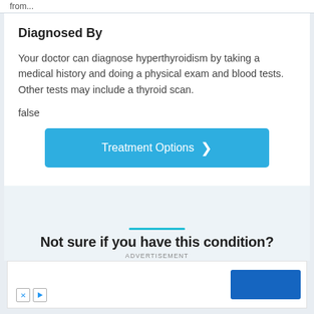from...
Diagnosed By
Your doctor can diagnose hyperthyroidism by taking a medical history and doing a physical exam and blood tests. Other tests may include a thyroid scan.
false
[Figure (screenshot): Blue button labeled 'Treatment Options' with a right-pointing chevron arrow]
[Figure (screenshot): Section with teal horizontal bar and partial heading 'Not sure if you have this condition?']
ADVERTISEMENT
[Figure (screenshot): Advertisement box with blue rectangle on right and X and play icons on lower left]